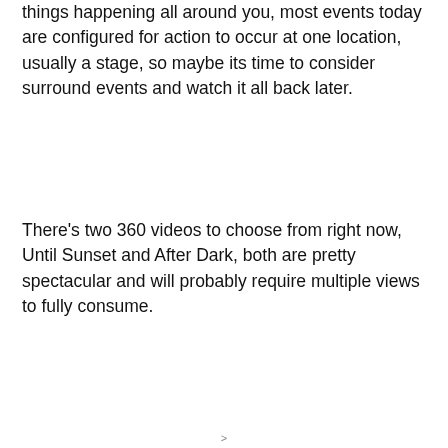things happening all around you, most events today are configured for action to occur at one location, usually a stage, so maybe its time to consider surround events and watch it all back later.
There's two 360 videos to choose from right now, Until Sunset and After Dark, both are pretty spectacular and will probably require multiple views to fully consume.
>